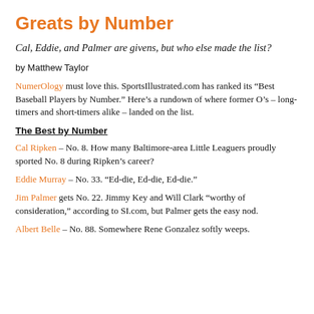Greats by Number
Cal, Eddie, and Palmer are givens, but who else made the list?
by Matthew Taylor
NumerOlogy must love this. SportsIllustrated.com has ranked its “Best Baseball Players by Number.” Here’s a rundown of where former O’s – long-timers and short-timers alike – landed on the list.
The Best by Number
Cal Ripken – No. 8. How many Baltimore-area Little Leaguers proudly sported No. 8 during Ripken’s career?
Eddie Murray – No. 33. “Ed-die, Ed-die, Ed-die.”
Jim Palmer gets No. 22. Jimmy Key and Will Clark “worthy of consideration,” according to SI.com, but Palmer gets the easy nod.
Albert Belle – No. 88. Somewhere Rene Gonzalez softly weeps.